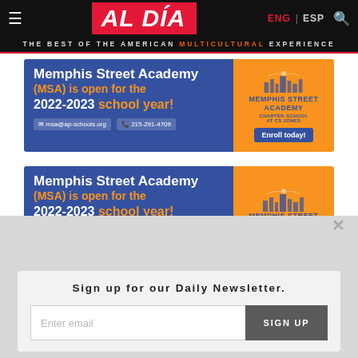AL DÍA — THE BEST OF THE AMERICAN MULTICULTURAL EXPERIENCE
[Figure (illustration): Memphis Street Academy (MSA) advertisement banner — blue and orange with text: Memphis Street Academy (MSA) is open for the 2022-2023 school year! Contact: msa@ap-schools.org | 215-291-4709. Enroll today!]
[Figure (illustration): Memphis Street Academy (MSA) advertisement banner (second instance) — blue and orange with text: Memphis Street Academy (MSA) is open for the 2022-2023 school year!]
Sign up for our Daily Newsletter.
Enter email
SIGN UP